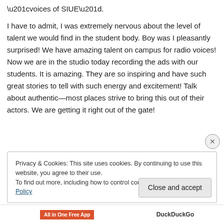“voices of SIUE”.
I have to admit, I was extremely nervous about the level of talent we would find in the student body. Boy was I pleasantly surprised! We have amazing talent on campus for radio voices! Now we are in the studio today recording the ads with our students. It is amazing. They are so inspiring and have such great stories to tell with such energy and excitement! Talk about authentic—most places strive to bring this out of their actors. We are getting it right out of the gate!
Privacy & Cookies: This site uses cookies. By continuing to use this website, you agree to their use. To find out more, including how to control cookies, see here: Cookie Policy